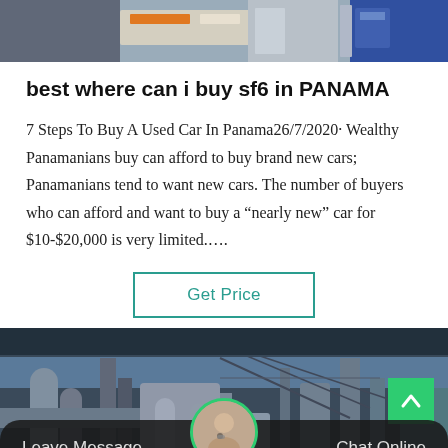[Figure (photo): Top portion of industrial or mechanical equipment photo, partially cropped]
best where can i buy sf6 in PANAMA
7 Steps To Buy A Used Car In Panama26/7/2020· Wealthy Panamanians buy can afford to buy brand new cars; Panamanians tend to want new cars. The number of buyers who can afford and want to buy a “nearly new” car for $10-$20,000 is very limited....
[Figure (other): Get Price button with teal/green border]
[Figure (photo): Bottom industrial facility photo with pipes and scaffolding, with Leave Message / Chat Online bar and avatar at bottom]